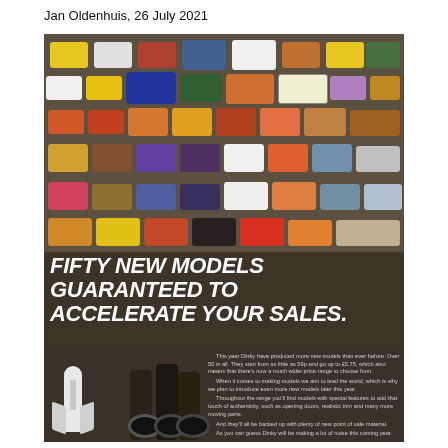Jan Oldenhuis, 26 July 2021
[Figure (photo): Vintage Dinky Toys advertisement showing rows of toy car models from a top-down view on a dark background, with a space shuttle and motorcycles in the lower left portion of the ad.]
FIFTY NEW MODELS GUARANTEED TO ACCELERATE YOUR SALES.
This year Dinky have produced more new models than ever before. Over 50 in all. They start from as little as 59p and go up to £5.75, which also means that there's now a much wider price range to choose from. When it comes to making models we aim to lead the world, which is why we plan to introduce even more new models later this year. Throughout the range you'll find models with special features to add that touch of authenticity, such as opening doors, realistic trim and many more moving parts. And they'll all be backed up with plenty of new point of sale material. As you can guess Dinky will be making a lot of noise this coming year.